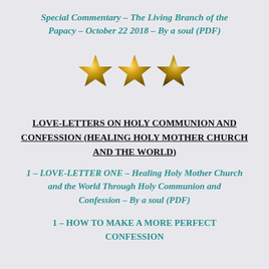Special Commentary – The Living Branch of the Papacy – October 22 2018 – By a soul (PDF)
[Figure (illustration): Three gold stars in a row]
LOVE-LETTERS ON HOLY COMMUNION AND CONFESSION (HEALING HOLY MOTHER CHURCH AND THE WORLD)
1 – LOVE-LETTER ONE – Healing Holy Mother Church and the World Through Holy Communion and Confession – By a soul (PDF)
1 – HOW TO MAKE A MORE PERFECT CONFESSION